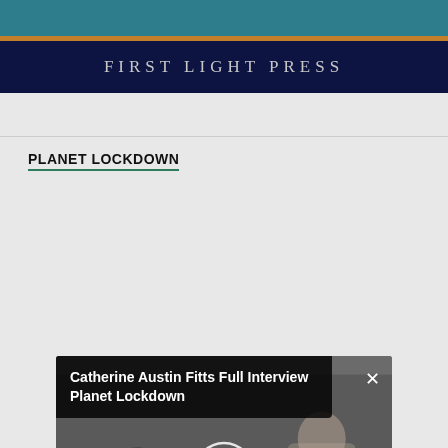FIRST LIGHT PRESS
PLANET LOCKDOWN
[Figure (screenshot): Embedded video player showing 'Catherine Austin Fitts Full Interview Planet Lockdown' by Ted Hanik. The player displays a 'Player error' message: 'The player is having trouble. We'll have it back up and running as soon as possible.' Video controls show play button, timecode 00:00, progress bar, end time 00:00, and fullscreen button.]